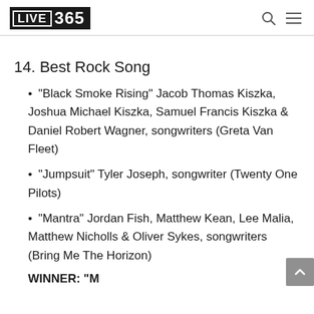LIVE 365
14. Best Rock Song
"Black Smoke Rising" Jacob Thomas Kiszka, Joshua Michael Kiszka, Samuel Francis Kiszka & Daniel Robert Wagner, songwriters (Greta Van Fleet)
"Jumpsuit" Tyler Joseph, songwriter (Twenty One Pilots)
"Mantra" Jordan Fish, Matthew Kean, Lee Malia, Matthew Nicholls & Oliver Sykes, songwriters (Bring Me The Horizon)
WINNER: "M..." ...